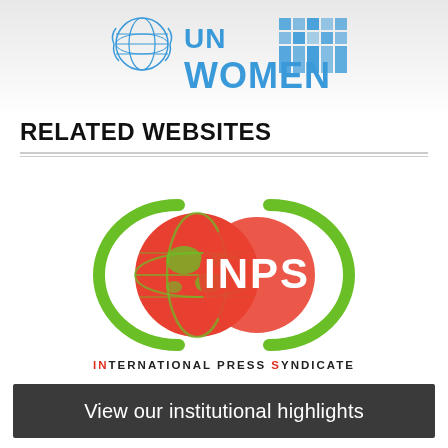[Figure (logo): UN Women logo with globe icon and blue text reading UN WOMEN with a blue grid/pattern graphic on the right]
RELATED WEBSITES
[Figure (logo): INPS logo: two overlapping circles (green and red) with a globe image inside, text INPS in the right circle, and subtitle INTERNATIONAL PRESS SYNDICATE below in bold spaced letters with red letters I, P, S highlighted]
View our institutional highlights